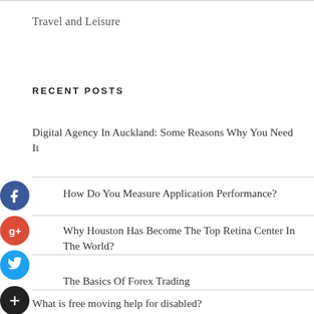Travel and Leisure
RECENT POSTS
Digital Agency In Auckland: Some Reasons Why You Need It
How Do You Measure Application Performance?
Why Houston Has Become The Top Retina Center In The World?
The Basics Of Forex Trading
What is free moving help for disabled?